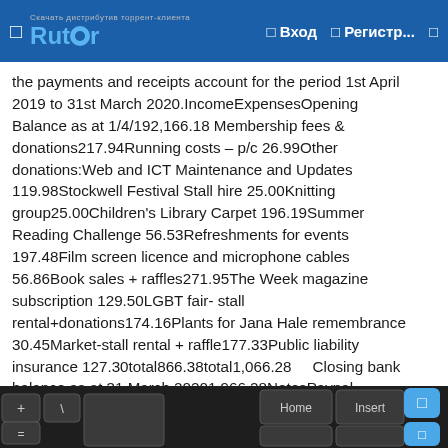Rutor | Вход | Регистр...
the payments and receipts account for the period 1st April 2019 to 31st March 2020.IncomeExpensesOpening Balance as at 1/4/192,166.18 Membership fees & donations217.94Running costs – p/c 26.99Other donations:Web and ICT Maintenance and Updates 119.98Stockwell Festival Stall hire 25.00Knitting group25.00Children's Library Carpet 196.19Summer Reading Challenge 56.53Refreshments for events 197.48Film screen licence and microphone cables 56.86Book sales + raffles271.95The Week magazine subscription 129.50LGBT fair- stall rental+donations174.16Plants for Jana Hale remembrance 30.45Market-stall rental + raffle177.33Public liability insurance 127.30total866.38total1,066.28    Closing bank balance as at 31 March 20201,966.28NotesPaypal membership fees for 2019/20 – £509.32 transferred on 28/4/20Delayed payments – technical difficulties – £168.63 transferred on 6/5/20With adjustments for items 1 and 2, the bank account stands at £2,644.23.
[Figure (photo): Close-up photograph of a dark keyboard showing keys including Insert, Home and other keys]